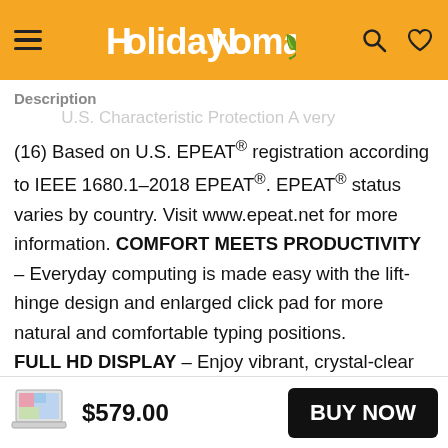HolidayNomad [logo with search and heart icons]
Description
(16) Based on U.S. EPEAT® registration according to IEEE 1680.1-2018 EPEAT®. EPEAT® status varies by country. Visit www.epeat.net for more information. COMFORT MEETS PRODUCTIVITY – Everyday computing is made easy with the lift-hinge design and enlarged click pad for more natural and comfortable typing positions. FULL HD DISPLAY – Enjoy vibrant, crystal-clear images with 178 degree wide-viewing angles on a Full HD IPS display. Plus, the non-reflective and low-gloss
$579.00  BUY NOW